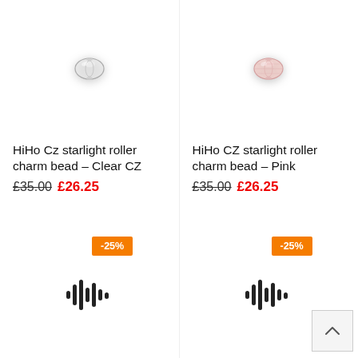[Figure (photo): Small clear/silver crystal roller bead charm on white background]
HiHo Cz starlight roller charm bead - Clear CZ
£35.00  £26.25
[Figure (photo): Small pink crystal roller bead charm on white background]
HiHo CZ starlight roller charm bead - Pink
£35.00  £26.25
[Figure (infographic): -25% discount badge, orange background]
[Figure (infographic): -25% discount badge, orange background]
[Figure (other): Waveform / audio bar icon, left column]
[Figure (other): Waveform / audio bar icon, right column]